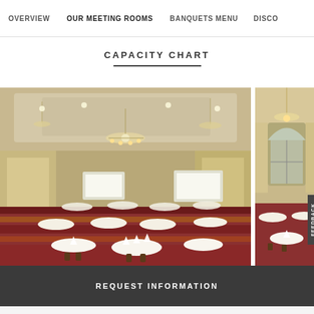OVERVIEW | OUR MEETING ROOMS | BANQUETS MENU | DISCO
CAPACITY CHART
[Figure (photo): Large hotel ballroom set for banquet with round tables covered in white linens, dark wood chairs, ornate patterned carpet, chandeliers, and projection screens at far end]
[Figure (photo): Partial view of second hotel room with white-covered tables and arched window]
FEEDBACK
REQUEST INFORMATION